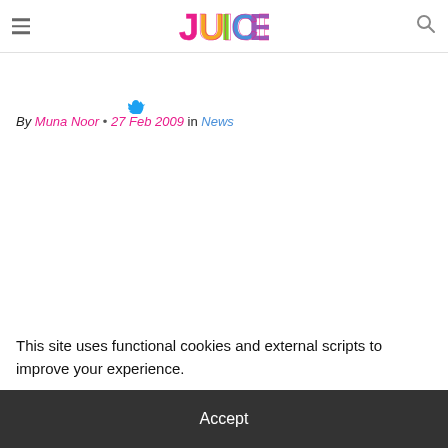JUICE (logo) — hamburger menu and search icon
By Muna Noor • 27 Feb 2009 in News
This site uses functional cookies and external scripts to improve your experience.
Accept